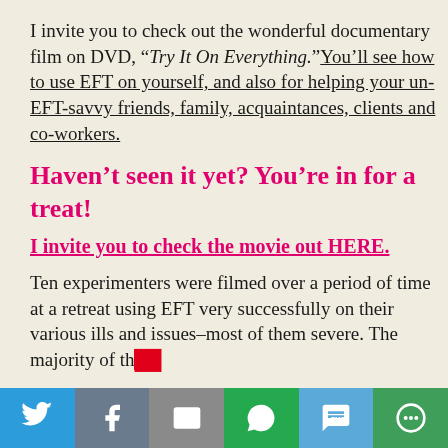I invite you to check out the wonderful documentary film on DVD, “Try It On Everything.” You’ll see how to use EFT on yourself, and also for helping your un-EFT-savvy friends, family, acquaintances, clients and co-workers.
Haven’t seen it yet? You’re in for a treat!
I invite you to check the movie out HERE.
Ten experimenters were filmed over a period of time at a retreat using EFT very successfully on their various ills and issues–most of them severe. The majority of th…
[Figure (infographic): Social sharing bar with six buttons: Twitter (blue), Facebook (grey-blue), Email (grey), WhatsApp (green), SMS (light blue), More (dark green)]